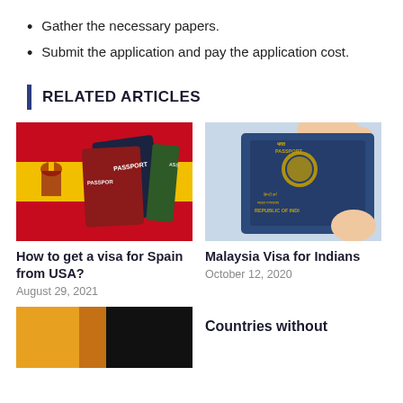Gather the necessary papers.
Submit the application and pay the application cost.
RELATED ARTICLES
[Figure (photo): Spanish flag with multiple passports fanned out on top]
How to get a visa for Spain from USA?
August 29, 2021
[Figure (photo): Hand holding an Indian passport showing 'Republic of India' in Hindi and English]
Malaysia Visa for Indians
October 12, 2020
[Figure (photo): Partial image with orange/yellow and dark tones, bottom left article]
Countries without